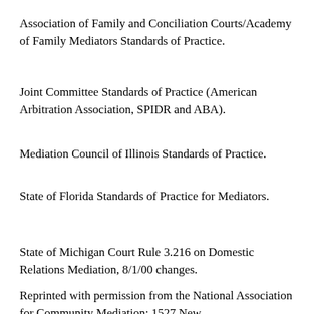Association of Family and Conciliation Courts/Academy of Family Mediators Standards of Practice.
Joint Committee Standards of Practice (American Arbitration Association, SPIDR and ABA).
Mediation Council of Illinois Standards of Practice.
State of Florida Standards of Practice for Mediators.
State of Michigan Court Rule 3.216 on Domestic Relations Mediation, 8/1/00 changes.
Reprinted with permission from the National Association for Community Mediation: 1527 New